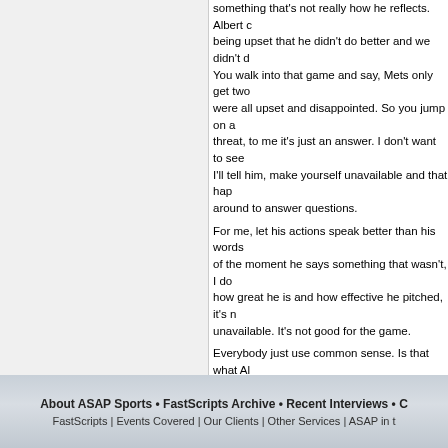something that's not really how he reflects. Albert c being upset that he didn't do better and we didn't d You walk into that game and say, Mets only get two were all upset and disappointed. So you jump on a threat, to me it's just an answer. I don't want to see I'll tell him, make yourself unavailable and that hap around to answer questions.
For me, let his actions speak better than his words of the moment he says something that wasn't, I do how great he is and how effective he pitched, it's n unavailable. It's not good for the game.
Everybody just use common sense. Is that what Al Oakland, Dave Stewart, fiercest competitor around after he had gotten beat, man, the stuff that came c common sense. If somebody labels Albert Pujols a me tremendously.
Q. To be fair, he was not spontaneous, he made questions were not inflammatory at all. They w there was such a huge cry. It was not immediat
TONY LA RUSSA: To me "not immediate" means t when you get taught when you're a baby in the Min wait until the next day until you talk to the player. In losing is upsetting. And the guys that are not upset their competitive fire; it needs to be burning a little. time to reflect and be sensible, then that's a little di
End of FastScripts...
About ASAP Sports • FastScripts Archive • Recent Interviews • C
FastScripts | Events Covered | Our Clients | Other Services | ASAP in t